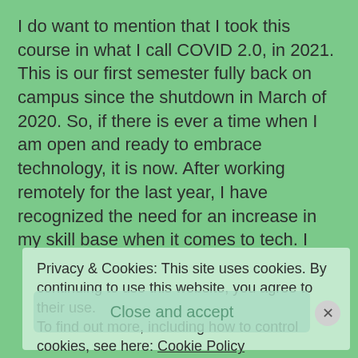I do want to mention that I took this course in what I call COVID 2.0, in 2021. This is our first semester fully back on campus since the shutdown in March of 2020. So, if there is ever a time when I am open and ready to embrace technology, it is now. After working remotely for the last year, I have recognized the need for an increase in my skill base when it comes to tech. I
Privacy & Cookies: This site uses cookies. By continuing to use this website, you agree to their use.
To find out more, including how to control cookies, see here: Cookie Policy
Close and accept